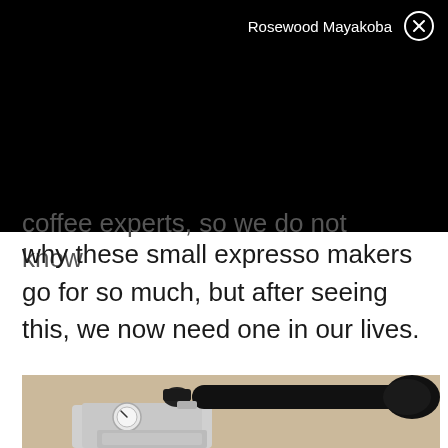Rosewood Mayakoba
coffee experts, so we do not know why these small expresso makers go for so much, but after seeing this, we now need one in our lives.
[Figure (photo): Close-up photo of a small chrome espresso maker with a black handle lever and pressure gauge, set against a beige wall background.]